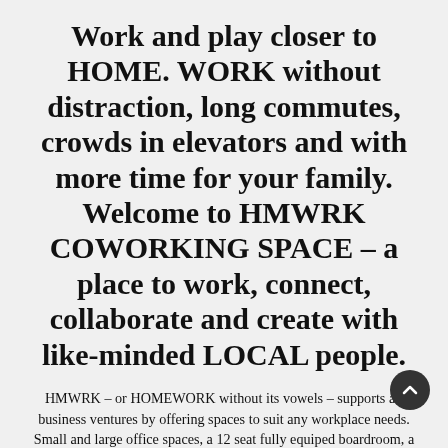Work and play closer to HOME. WORK without distraction, long commutes, crowds in elevators and with more time for your family. Welcome to HMWRK COWORKING SPACE – a place to work, connect, collaborate and create with like-minded LOCAL people.
HMWRK – or HOMEWORK without its vowels – supports all business ventures by offering spaces to suit any workplace needs. Small and large office spaces, a 12 seat fully equiped boardroom, a meeting room, hot desks, dedicated desks and lightning fast internet are just a ways we can change your working world for the better. Networking, a mindset, opportunities and a feeling of...